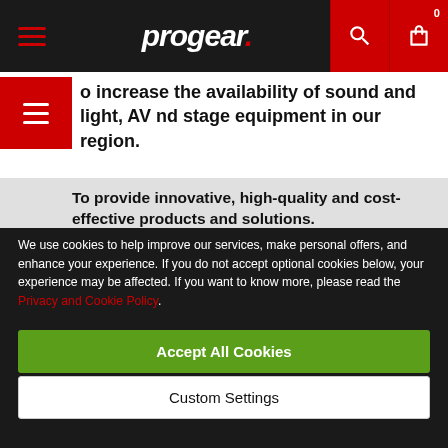progear. [navigation bar with hamburger menu, search and cart icons]
o increase the availability of sound and light, AV nd stage equipment in our region.
To provide innovative, high-quality and cost-effective products and solutions.
We use cookies to help improve our services, make personal offers, and enhance your experience. If you do not accept optional cookies below, your experience may be affected. If you want to know more, please read the Privacy and Cookie Policy.
Accept All Cookies
Custom Settings
Values